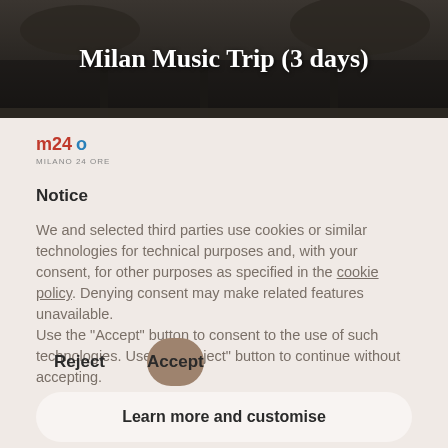[Figure (photo): Dark background image of ornate opera house interior with header text 'Milan Music Trip (3 days)']
Milan Music Trip (3 days)
[Figure (logo): m24o Milano 24 Ore logo in small text]
Notice
We and selected third parties use cookies or similar technologies for technical purposes and, with your consent, for other purposes as specified in the cookie policy. Denying consent may make related features unavailable.
Use the “Accept” button to consent to the use of such technologies. Use the “Reject” button to continue without accepting.
Reject
Accept
Learn more and customise